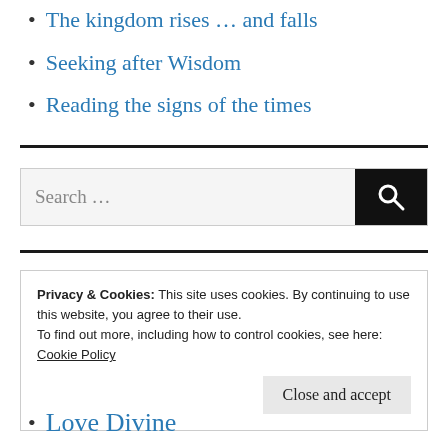The kingdom rises … and falls
Seeking after Wisdom
Reading the signs of the times
[Figure (other): Horizontal black divider line]
[Figure (other): Search bar with text input placeholder 'Search ...' and black search button with magnifying glass icon]
[Figure (other): Horizontal black divider line]
Privacy & Cookies: This site uses cookies. By continuing to use this website, you agree to their use.
To find out more, including how to control cookies, see here:
Cookie Policy
Close and accept
Love Divine